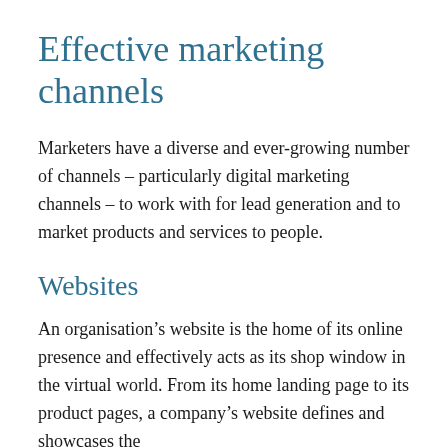Effective marketing channels
Marketers have a diverse and ever-growing number of channels – particularly digital marketing channels – to work with for lead generation and to market products and services to people.
Websites
An organisation’s website is the home of its online presence and effectively acts as its shop window in the virtual world. From its home landing page to its product pages, a company’s website defines and showcases the